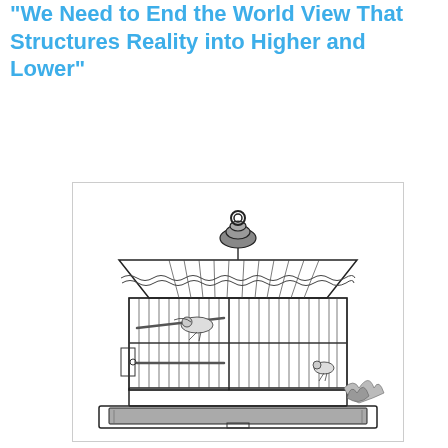"We Need to End the World View That Structures Reality into Higher and Lower"
[Figure (illustration): A detailed black and white engraving/illustration of a Victorian-style ornate bird cage with two birds inside, a domed roof with vertical bars, a hanging loop at the top, perches, and a tray at the bottom.]